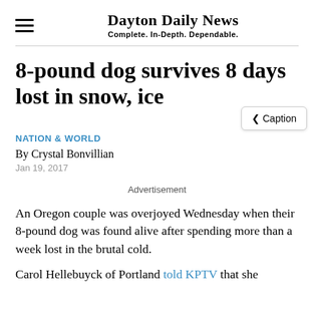Dayton Daily News — Complete. In-Depth. Dependable.
8-pound dog survives 8 days lost in snow, ice
NATION & WORLD
By Crystal Bonvillian
Jan 19, 2017
Advertisement
An Oregon couple was overjoyed Wednesday when their 8-pound dog was found alive after spending more than a week lost in the brutal cold.
Carol Hellebuyck of Portland told KPTV that she